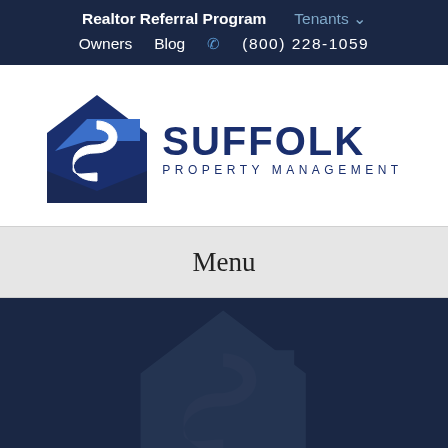Realtor Referral Program   Tenants ▾   Owners   Blog   ☎ (800) 228-1059
[Figure (logo): Suffolk Property Management logo — a blue house/shield icon with an S-curve, next to bold text SUFFOLK PROPERTY MANAGEMENT]
Menu
[Figure (illustration): Dark navy blue background with a faint watermark of the Suffolk logo icon]